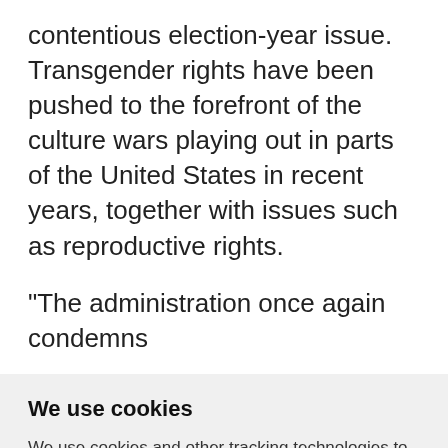contentious election-year issue. Transgender rights have been pushed to the forefront of the culture wars playing out in parts of the United States in recent years, together with issues such as reproductive rights.
"The administration once again condemns
We use cookies
We use cookies and other tracking technologies to improve your browsing experience on our website, to show you personalized content and targeted ads, to analyze our website traffic, and to understand where our visitors are coming from.